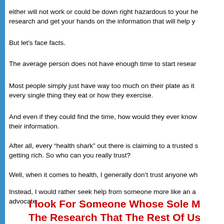either will not work or could be down right hazardous to your health. research and get your hands on the information that will help you.
But let's face facts.
The average person does not have enough time to start researching...
Most people simply just have way too much on their plate as it is to research every single thing they eat or how they exercise.
And even if they could find the time, how would they ever know who to trust for their information.
After all, every “health shark” out there is claiming to a trusted source while getting rich. So who can you really trust?
Well, when it comes to health, I generally don’t trust anyone who...
Instead, I would rather seek help from someone more like an advocate. advocate.
I look For Someone Whose Sole M... The Research That The Rest Of Us... Time To Do Or Simply Just Have N... The No Ulterior Mo...